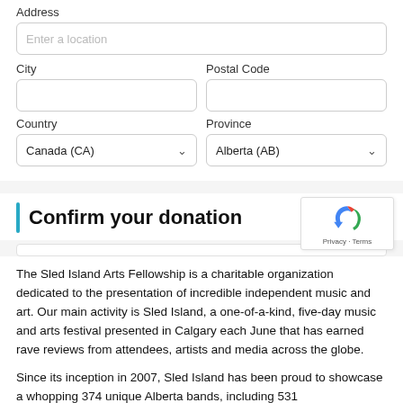Address
Enter a location
City
Postal Code
Country
Province
Canada (CA)
Alberta (AB)
Confirm your donation
The Sled Island Arts Fellowship is a charitable organization dedicated to the presentation of incredible independent music and art. Our main activity is Sled Island, a one-of-a-kind, five-day music and arts festival presented in Calgary each June that has earned rave reviews from attendees, artists and media across the globe.
Since its inception in 2007, Sled Island has been proud to showcase a whopping 374 unique Alberta bands, including 531